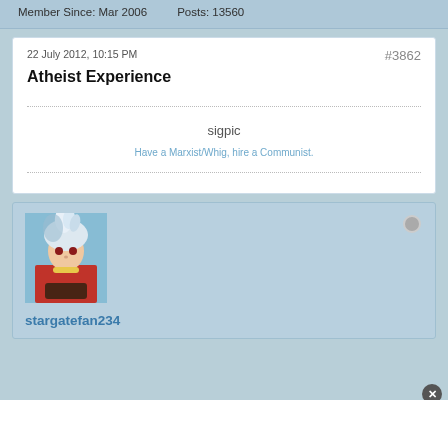Member Since: Mar 2006    Posts: 13560
22 July 2012, 10:15 PM
#3862
Atheist Experience
sigpic
Have a Marxist/Whig, hire a Communist.
[Figure (photo): Anime character avatar with white/silver hair wearing red, holding something, blue sky background]
stargatefan234